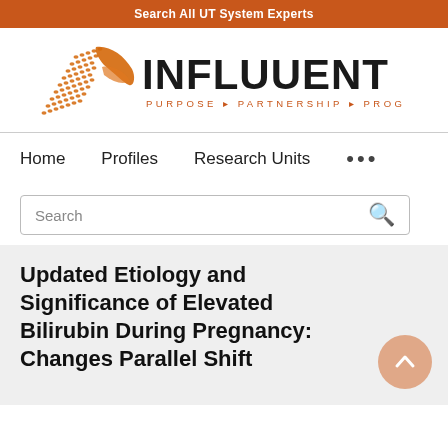Search All UT System Experts
[Figure (logo): Influuent logo with orange geometric design and text INFLUUENT PURPOSE PARTNERSHIP PROGRESS]
Home   Profiles   Research Units   ...
Search
Updated Etiology and Significance of Elevated Bilirubin During Pregnancy: Changes Parallel Shift